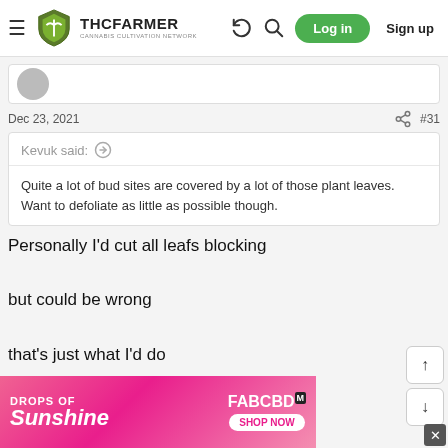THCFarmer Cannabis Cultivation Network — Log in / Sign up
Dec 23, 2021  #31
Kevuk said:
Quite a lot of bud sites are covered by a lot of those plant leaves. Want to defoliate as little as possible though.
Personally I'd cut all leafs blocking

but could be wrong

that's just what I'd do
[Figure (screenshot): Advertisement banner: DROPS OF Sunshine — FABCBD SHOP NOW]